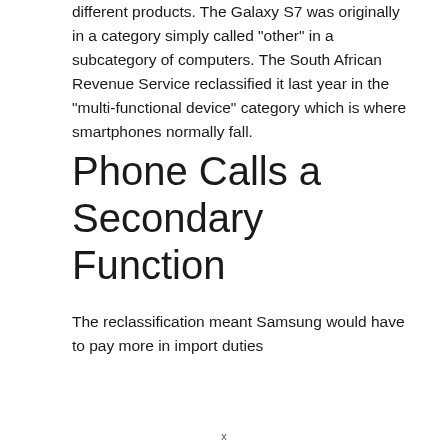different products. The Galaxy S7 was originally in a category simply called "other" in a subcategory of computers. The South African Revenue Service reclassified it last year in the "multi-functional device" category which is where smartphones normally fall.
Phone Calls a Secondary Function
The reclassification meant Samsung would have to pay more in import duties
x